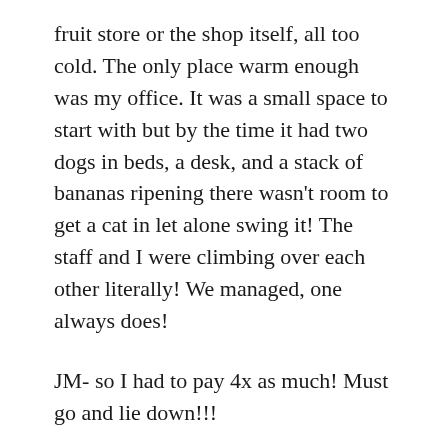fruit store or the shop itself, all too cold. The only place warm enough was my office. It was a small space to start with but by the time it had two dogs in beds, a desk, and a stack of bananas ripening there wasn't room to get a cat in let alone swing it! The staff and I were climbing over each other literally! We managed, one always does!
JM- so I had to pay 4x as much! Must go and lie down!!!
Just to cheer myself up I shall tell you a tale of such meanness and economy as to be prize taking. I don't waste food, making something out of nothing is an artform and has become